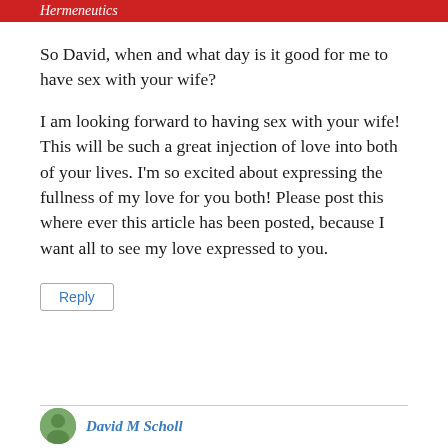Hermeneutics
So David, when and what day is it good for me to have sex with your wife?
I am looking forward to having sex with your wife! This will be such a great injection of love into both of your lives. I'm so excited about expressing the fullness of my love for you both! Please post this where ever this article has been posted, because I want all to see my love expressed to you.
Reply
David M Scholl